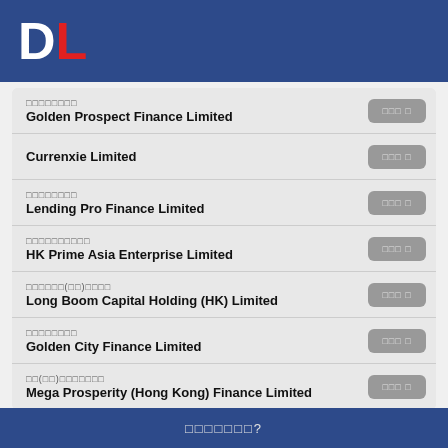DL
□□□□□□□□ Golden Prospect Finance Limited
Currenxie Limited
□□□□□□□□ Lending Pro Finance Limited
□□□□□□□□□□ HK Prime Asia Enterprise Limited
□□□□□□(□□)□□□□ Long Boom Capital Holding (HK) Limited
□□□□□□□□ Golden City Finance Limited
□□(□□)□□□□□□□ Mega Prosperity (Hong Kong) Finance Limited
□□□□□□□?